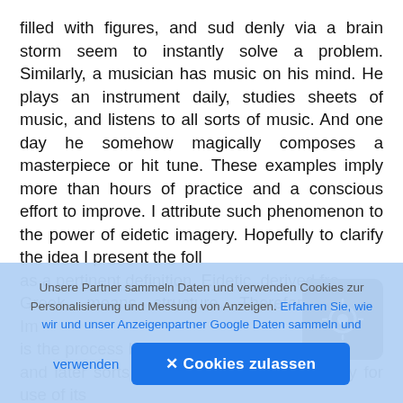filled with figures, and sud denly via a brain storm seem to instantly solve a problem. Similarly, a musician has music on his mind. He plays an instrument daily, studies sheets of music, and listens to all sorts of music. And one day he somehow magically composes a masterpiece or hit tune. These examples imply more than hours of practice and a conscious effort to improve. I attribute such phenomenon to the power of eidetic imagery. Hopefully to clarify the idea I present the following as a pertinent definition. Eidetic, derived from Greek, means structure. Therefore, Eidetic Imagery is the process by which the brain absorbs, stores and later sorts information re ceived visually for use of its
Unsere Partner sammeln Daten und verwenden Cookies zur Personalisierung und Messung von Anzeigen. Erfahren Sie, wie wir und unser Anzeigenpartner Google Daten sammeln und verwenden